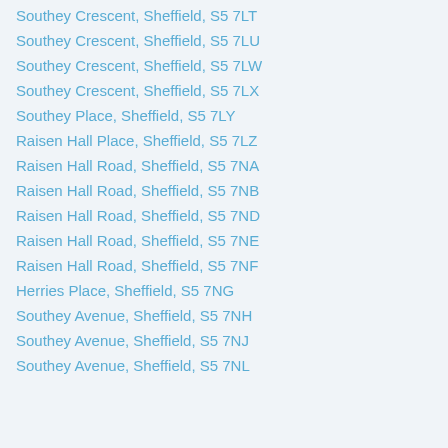Southey Crescent, Sheffield, S5 7LT
Southey Crescent, Sheffield, S5 7LU
Southey Crescent, Sheffield, S5 7LW
Southey Crescent, Sheffield, S5 7LX
Southey Place, Sheffield, S5 7LY
Raisen Hall Place, Sheffield, S5 7LZ
Raisen Hall Road, Sheffield, S5 7NA
Raisen Hall Road, Sheffield, S5 7NB
Raisen Hall Road, Sheffield, S5 7ND
Raisen Hall Road, Sheffield, S5 7NE
Raisen Hall Road, Sheffield, S5 7NF
Herries Place, Sheffield, S5 7NG
Southey Avenue, Sheffield, S5 7NH
Southey Avenue, Sheffield, S5 7NJ
Southey Avenue, Sheffield, S5 7NL